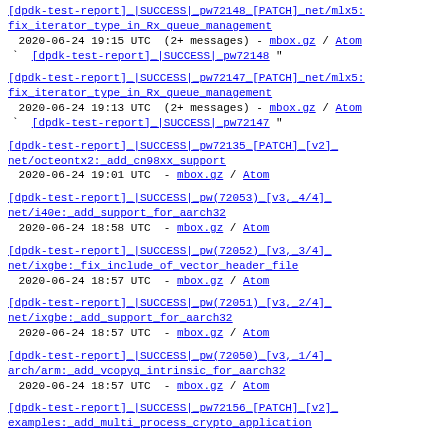[dpdk-test-report] |SUCCESS| pw72148 [PATCH] net/mlx5: fix iterator type in Rx queue management
2020-06-24 19:15 UTC  (2+ messages) - mbox.gz / Atom
` [dpdk-test-report] |SUCCESS| pw72148 "
[dpdk-test-report] |SUCCESS| pw72147 [PATCH] net/mlx5: fix iterator type in Rx queue management
2020-06-24 19:13 UTC  (2+ messages) - mbox.gz / Atom
` [dpdk-test-report] |SUCCESS| pw72147 "
[dpdk-test-report] |SUCCESS| pw72135 [PATCH] [v2] net/octeontx2: add cn98xx support
2020-06-24 19:01 UTC  - mbox.gz / Atom
[dpdk-test-report] |SUCCESS| pw(72053) [v3, 4/4] net/i40e: add support for aarch32
2020-06-24 18:58 UTC  - mbox.gz / Atom
[dpdk-test-report] |SUCCESS| pw(72052) [v3, 3/4] net/ixgbe: fix include of vector header file
2020-06-24 18:57 UTC  - mbox.gz / Atom
[dpdk-test-report] |SUCCESS| pw(72051) [v3, 2/4] net/ixgbe: add support for aarch32
2020-06-24 18:57 UTC  - mbox.gz / Atom
[dpdk-test-report] |SUCCESS| pw(72050) [v3, 1/4] arch/arm: add vcopyq intrinsic for aarch32
2020-06-24 18:57 UTC  - mbox.gz / Atom
[dpdk-test-report] |SUCCESS| pw72156 [PATCH] [v2] examples: add multi_process crypto application